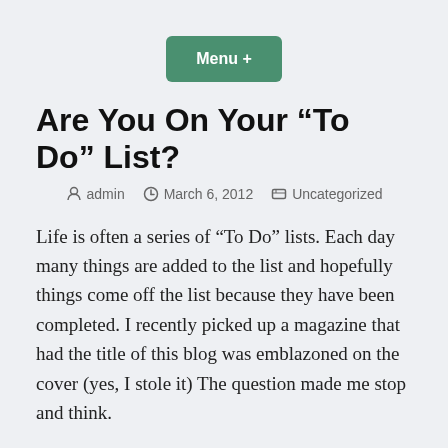Menu +
Are You On Your “To Do” List?
admin   March 6, 2012   Uncategorized
Life is often a series of “To Do” lists.  Each day many things are added to the list and hopefully things come off the list because they have been completed.  I recently picked up a magazine that had the title of this blog was emblazoned on the cover (yes, I stole it) The question made me stop and think.
My first reaction was, “That’s a pretty selfish